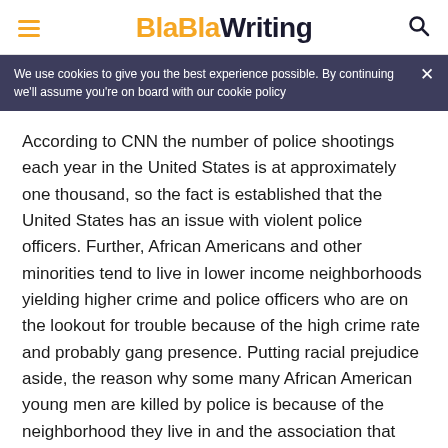BlaBlaWriting
We use cookies to give you the best experience possible. By continuing we'll assume you're on board with our cookie policy
According to CNN the number of police shootings each year in the United States is at approximately one thousand, so the fact is established that the United States has an issue with violent police officers. Further, African Americans and other minorities tend to live in lower income neighborhoods yielding higher crime and police officers who are on the lookout for trouble because of the high crime rate and probably gang presence. Putting racial prejudice aside, the reason why some many African American young men are killed by police is because of the neighborhood they live in and the association that goes along with it. That is when racial prejudice and hatred are intertwined with stereotypes of neighborhoods and group